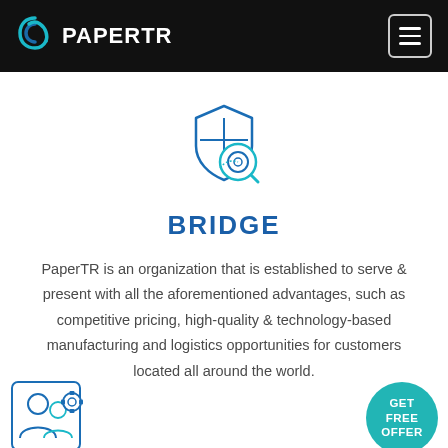PAPERTR
[Figure (logo): PaperTR logo with teal/blue spiral P icon and white PAPERTR text on black navbar, plus hamburger menu icon on right]
[Figure (illustration): Blue line-art icon of a shield with crosshair/target overlay, representing bridge/quality assurance]
BRIDGE
PaperTR is an organization that is established to serve & present with all the aforementioned advantages, such as competitive pricing, high-quality & technology-based manufacturing and logistics opportunities for customers located all around the world.
[Figure (illustration): Blue line-art icon of two people with gear/settings symbol, representing expertise or team]
[Figure (other): Teal circular badge with text GET FREE OFFER]